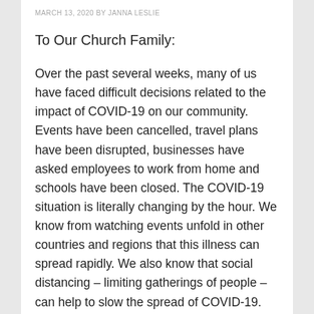MARCH 13, 2020 BY JANNA LESLIE
To Our Church Family:
Over the past several weeks, many of us have faced difficult decisions related to the impact of COVID-19 on our community. Events have been cancelled, travel plans have been disrupted, businesses have asked employees to work from home and schools have been closed. The COVID-19 situation is literally changing by the hour. We know from watching events unfold in other countries and regions that this illness can spread rapidly. We also know that social distancing – limiting gatherings of people – can help to slow the spread of COVID-19. After discussions with medical professionals in the community, and communications from other churches in the